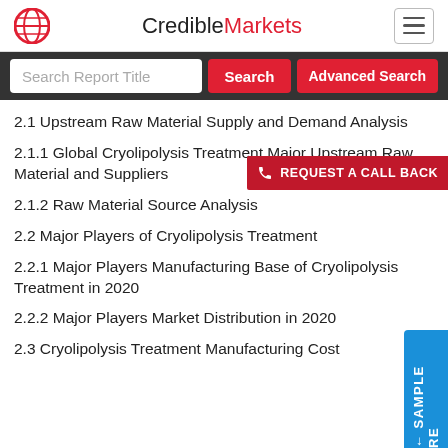CredibleMarkets
2.1 Upstream Raw Material Supply and Demand Analysis
2.1.1 Global Cryolipolysis Treatment Major Upstream Raw Material and Suppliers
2.1.2 Raw Material Source Analysis
2.2 Major Players of Cryolipolysis Treatment
2.2.1 Major Players Manufacturing Base of Cryolipolysis Treatment in 2020
2.2.2 Major Players Market Distribution in 2020
2.3 Cryolipolysis Treatment Manufacturing Cost